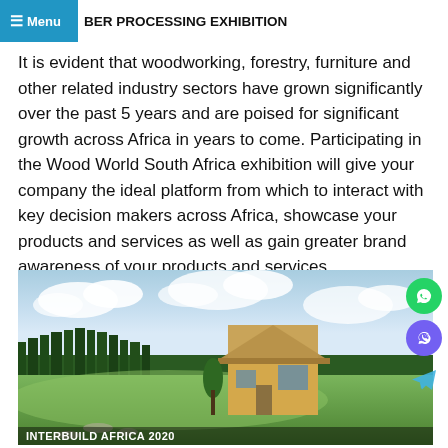WOOD WORLD SOUTH AFRICA 2022 – WOODWORKING TIMBER PROCESSING EXHIBITION
It is evident that woodworking, forestry, furniture and other related industry sectors have grown significantly over the past 5 years and are poised for significant growth across Africa in years to come. Participating in the Wood World South Africa exhibition will give your company the ideal platform from which to interact with key decision makers across Africa, showcase your products and services as well as gain greater brand awareness of your products and services.
[Figure (photo): Photograph of a wooden house with a large green lawn and trees in the background under a cloudy sky. Caption reads INTERBUILD AFRICA 2020.]